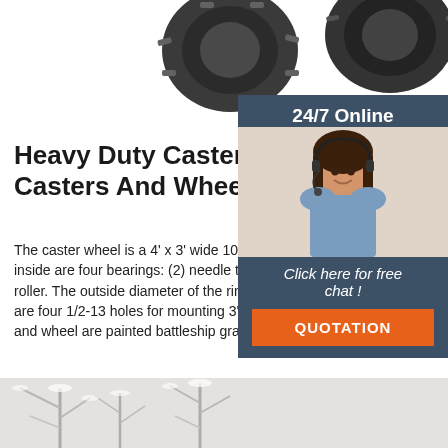[Figure (photo): Two heavy duty caster wheels / tires shown from above, dark rubber treaded wheels, partially cropped at top of page]
Heavy Duty Casters - Hamilton Casters And Wheels: Heavy .
The caster wheel is a 4' x 3' wide 1045 steel ro inside are four bearings: (2) needle thrust and roller. The outside diameter of the ring is 7 1/4 are four 1/2-13 holes for mounting 3' x 3' wide and wheel are painted battleship gray enamel.
[Figure (photo): Customer service representative, woman with headset smiling, shown in sidebar widget]
24/7 Online
Click here for free chat !
QUOTATION
Get Price
[Figure (photo): Partial bottom image, appears to be a snowy tree scene, cropped]